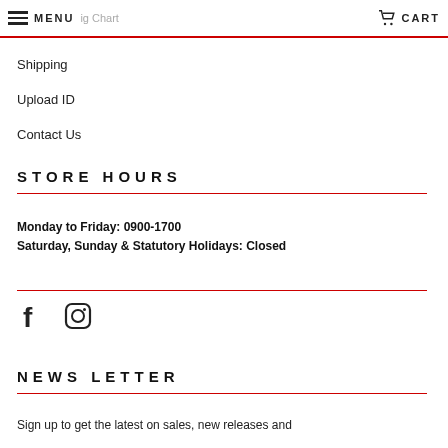MENU | CART
Shipping
Upload ID
Contact Us
STORE HOURS
Monday to Friday: 0900-1700
Saturday, Sunday & Statutory Holidays: Closed
[Figure (infographic): Social media icons: Facebook (f) and Instagram (camera) icons]
NEWS LETTER
Sign up to get the latest on sales, new releases and